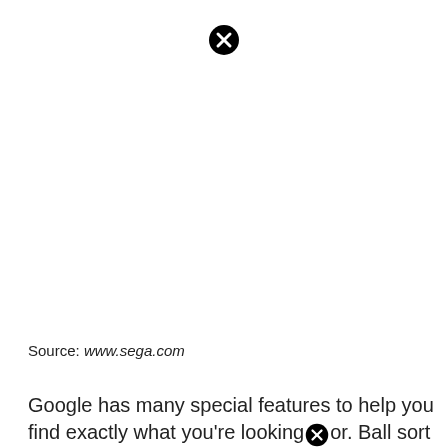[Figure (other): Close/cancel button icon (black circle with white X) at top center of page]
Source: www.sega.com
[Figure (other): Close/cancel button icon (black circle with white X) inline within text]
Google has many special features to help you find exactly what you're looking for. Ball sort puzzle is a fun